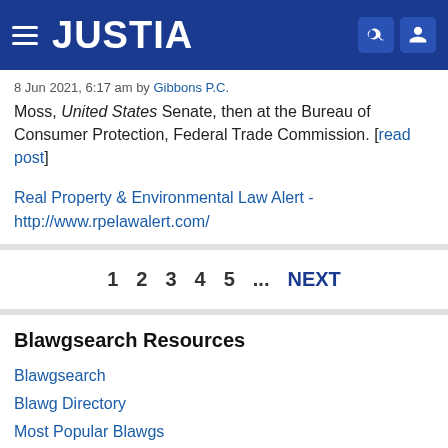JUSTIA
8 Jun 2021, 6:17 am by Gibbons P.C.
Moss, United States Senate, then at the Bureau of Consumer Protection, Federal Trade Commission. [read post]
Real Property & Environmental Law Alert - http://www.rpelawalert.com/
1 2 3 4 5 ... NEXT
Blawgsearch Resources
Blawgsearch
Blawg Directory
Most Popular Blawgs